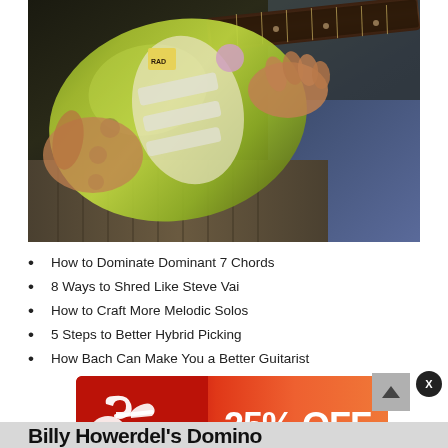[Figure (photo): Person playing a green electric guitar with stickers, wearing brown corduroy pants and jeans, sitting down. Close-up view showing the guitar body and the player's hands on the fretboard.]
How to Dominate Dominant 7 Chords
8 Ways to Shred Like Steve Vai
How to Craft More Melodic Solos
5 Steps to Better Hybrid Picking
How Bach Can Make You a Better Guitarist
[Figure (infographic): Guitar Center advertisement banner showing '25% OFF' in white text on a red-to-orange gradient background, with the Guitar Center logo on the left side.]
Billy Howerdel's Domino